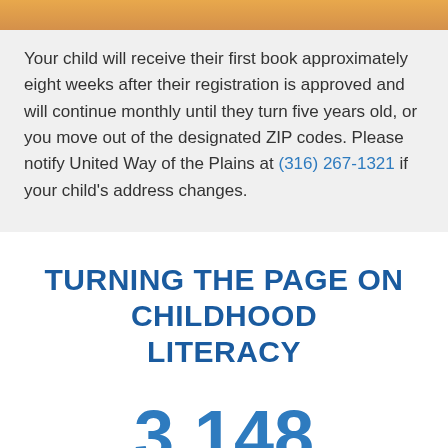[Figure (other): Orange/amber gradient decorative bar at the top of the page]
Your child will receive their first book approximately eight weeks after their registration is approved and will continue monthly until they turn five years old, or you move out of the designated ZIP codes. Please notify United Way of the Plains at (316) 267-1321 if your child's address changes.
TURNING THE PAGE ON CHILDHOOD LITERACY
3,148